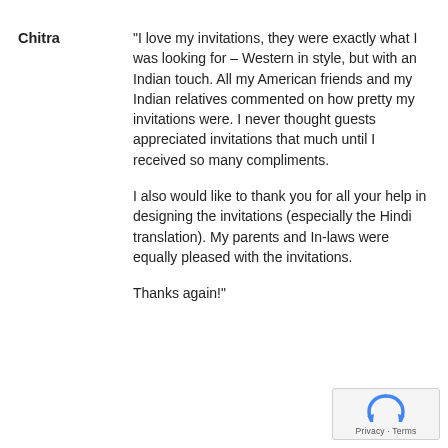Chitra	"I love my invitations, they were exactly what I was looking for – Western in style, but with an Indian touch. All my American friends and my Indian relatives commented on how pretty my invitations were. I never thought guests appreciated invitations that much until I received so many compliments.

I also would like to thank you for all your help in designing the invitations (especially the Hindi translation). My parents and In-laws were equally pleased with the invitations.

Thanks again!"
[Figure (other): reCAPTCHA widget with Privacy and Terms links]